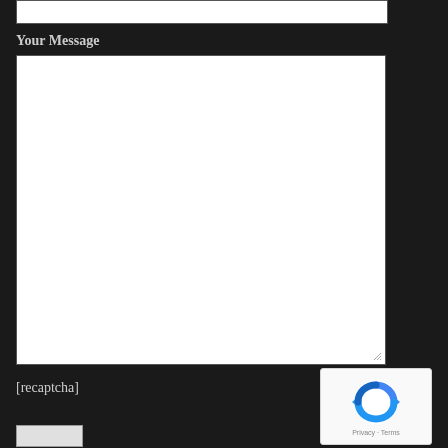[Figure (screenshot): White input box at the top of a contact form on a dark background]
Your Message
[Figure (screenshot): Large white textarea input box for message entry with resize handle in bottom-right corner]
[recaptcha]
[Figure (screenshot): Google reCAPTCHA widget showing the reCAPTCHA logo (blue recycling arrows) and Privacy - Terms links]
[Figure (screenshot): Submit button (partial) visible at bottom of page]